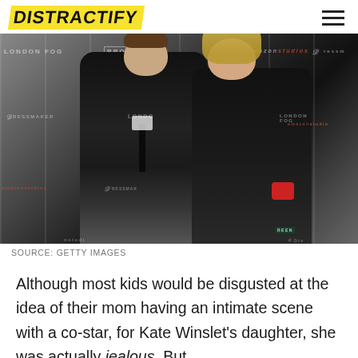DISTRACTIFY
[Figure (photo): A man in a black suit and a woman in a black dress posing together at a red carpet event for 'The Dressmaker', with Amazon Studios and London Fog branding in the background.]
SOURCE: GETTY IMAGES
Although most kids would be disgusted at the idea of their mom having an intimate scene with a co-star, for Kate Winslet's daughter, she was actually jealous. But